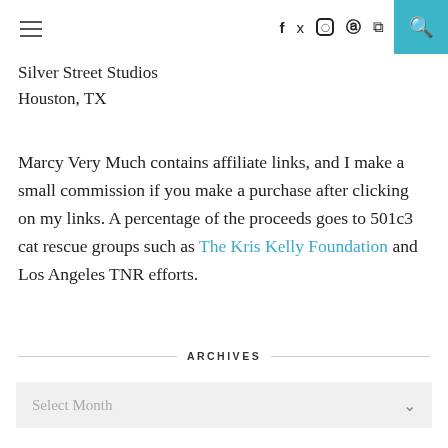Silver Street Studios Houston, TX
Marcy Very Much contains affiliate links, and I make a small commission if you make a purchase after clicking on my links. A percentage of the proceeds goes to 501c3 cat rescue groups such as The Kris Kelly Foundation and Los Angeles TNR efforts.
ARCHIVES
Select Month